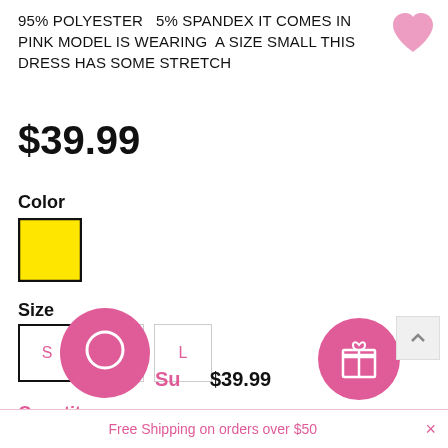95% POLYESTER   5% SPANDEX IT COMES IN PINK MODEL IS WEARING  A SIZE SMALL THIS DRESS HAS SOME STRETCH
$39.99
Color
[Figure (other): Yellow color swatch with black border]
Size
[Figure (other): Size selector buttons: S (selected, black border), M (light border), L (light border)]
Quantity:
[Figure (other): Quantity stepper control with minus button, value 1, plus button]
Subtotal: $39.99
Free Shipping on orders over $50